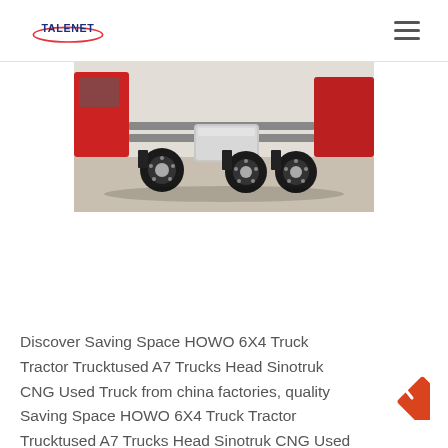TALENET
[Figure (photo): Underside/rear view of a HOWO 6X4 tractor truck showing wheels, axles, and fuel tank in a warehouse/showroom setting with other red trucks visible in background.]
Discover Saving Space HOWO 6X4 Truck Tractor Trucktused A7 Trucks Head Sinotruk CNG Used Truck from china factories, quality Saving Space HOWO 6X4 Truck Tractor Trucktused A7 Trucks Head Sinotruk CNG Used Truck of Weifang